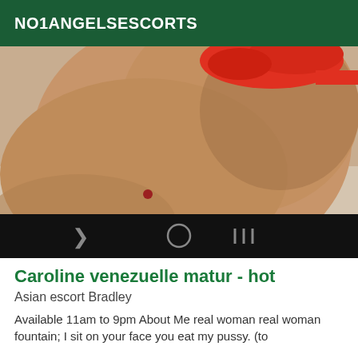NO1ANGELSESCORTS
[Figure (photo): Close-up photo of a person wearing a red bikini bottom, taken in a bathroom setting. Android navigation bar visible at the bottom of the image.]
Caroline venezuelle matur - hot
Asian escort Bradley
Available 11am to 9pm About Me real woman real woman fountain; I sit on your face you eat my pussy. (to